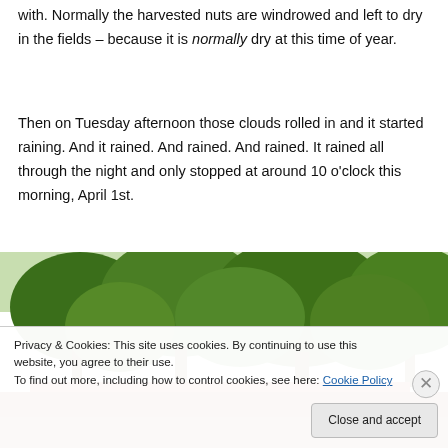with. Normally the harvested nuts are windrowed and left to dry in the fields – because it is normally dry at this time of year.
Then on Tuesday afternoon those clouds rolled in and it started raining. And it rained. And rained. And rained. It rained all through the night and only stopped at around 10 o'clock this morning, April 1st.
[Figure (photo): Outdoor photo showing trees with green foliage and a red/orange rooftop structure visible below, partially obscured by cookie consent banner]
Privacy & Cookies: This site uses cookies. By continuing to use this website, you agree to their use.
To find out more, including how to control cookies, see here: Cookie Policy